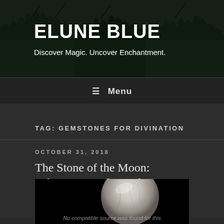ELUNE BLUE
Discover Magic. Uncover Enchantment.
≡ Menu
TAG: GEMSTONES FOR DIVINATION
OCTOBER 31, 2018
The Stone of the Moon: Selenite Metaphysical Meaning and Uses
[Figure (photo): A pale spherical selenite stone against a black background, with overlay text 'No compatible source was found for this']